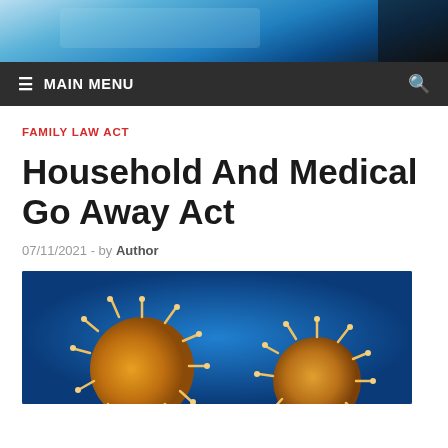[Figure (photo): Blue-toned header banner photo showing a gavel/court/legal setting with blue glass building in background]
≡ MAIN MENU
FAMILY LAW ACT
Household And Medical Go Away Act
07/11/2021  -  by Author
[Figure (photo): Close-up photo of coronavirus/virus particles on blue background with spiky yellow-orange spherical shapes]